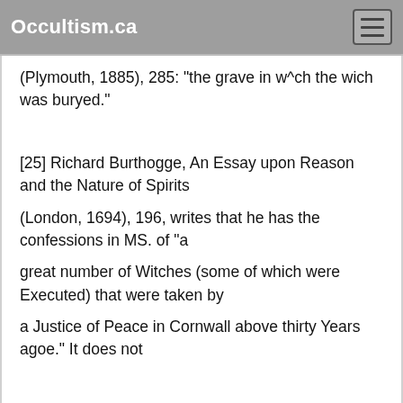Occultism.ca
(Plymouth, 1885), 285: "the grave in w^ch the wich was buryed."
[25] Richard Burthogge, An Essay upon Reason and the Nature of Spirits
(London, 1694), 196, writes that he has the confessions in MS. of "a
great number of Witches (some of which were Executed) that were taken by
a Justice of Peace in Cornwall above thirty Years agoe." It does not